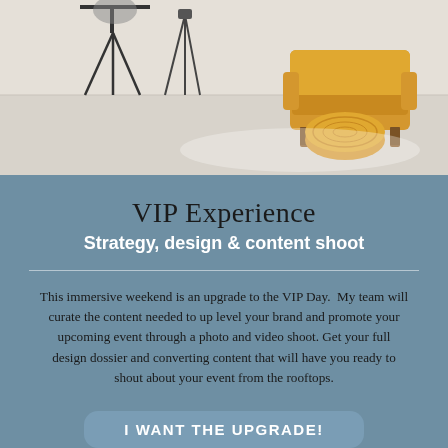[Figure (photo): Interior photography studio scene with a yellow armchair, yellow knitted pouf ottoman, and photography tripod/light stands on a light grey floor against a white background]
VIP Experience
Strategy, design & content shoot
This immersive weekend is an upgrade to the VIP Day. My team will curate the content needed to up level your brand and promote your upcoming event through a photo and video shoot. Get your full design dossier and converting content that will have you ready to shout about your event from the rooftops.
I WANT THE UPGRADE!